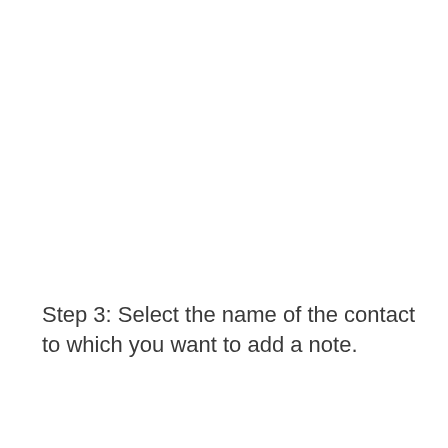Step 3: Select the name of the contact to which you want to add a note.